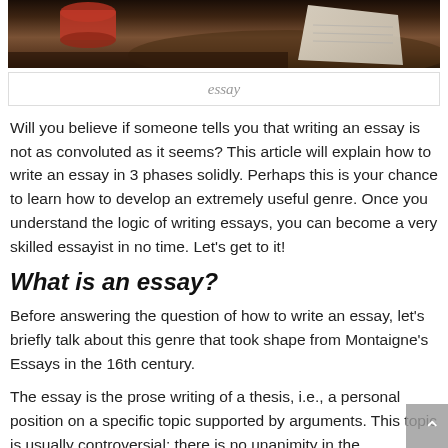[Figure (photo): Photograph showing a person writing or working with papers, viewed from above with warm dark tones]
essay
Will you believe if someone tells you that writing an essay is not as convoluted as it seems? This article will explain how to write an essay in 3 phases solidly. Perhaps this is your chance to learn how to develop an extremely useful genre. Once you understand the logic of writing essays, you can become a very skilled essayist in no time. Let's get to it!
What is an essay?
Before answering the question of how to write an essay, let's briefly talk about this genre that took shape from Montaigne's Essays in the 16th century.
The essay is the prose writing of a thesis, i.e., a personal position on a specific topic supported by arguments. This topic is usually controversial: there is no unanimity in the